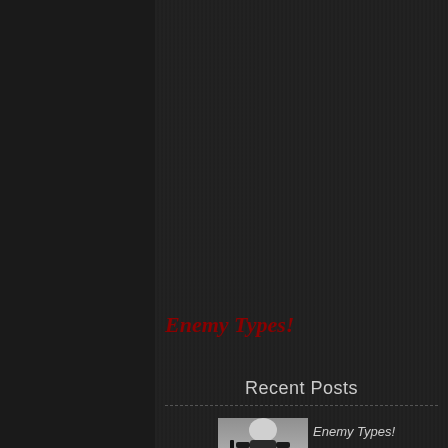[Figure (screenshot): 3D rendered police officer character (lower body visible) in riot gear with jeans, knee pads, utility belt, holding a baton. A POLICE sign badge visible in the right portion. A gold/yellow arrow chevron pointing right.]
Enemy Types!
Recent Posts
[Figure (screenshot): Thumbnail of 3D rendered police officer character in full riot gear with helmet, body armor, baton, POLICE badge sign in background.]
Enemy Types!